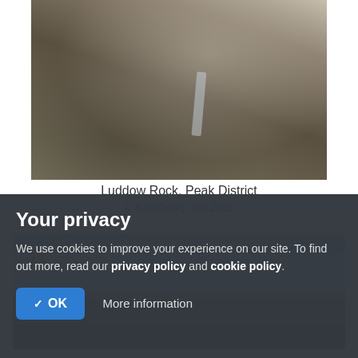[Figure (photo): Rock formation at Luddow Rock, Peak District, partially cropped at top]
Luddow Rock, Peak District
© KateCasey, Jan 2022
[Figure (photo): Outdoor landscape with blue sky and snow-covered hills or silage bales in foreground, with a bare winter tree, with a number 5 badge overlay in top-left corner]
Your privacy
We use cookies to improve your experience on our site. To find out more, read our privacy policy and cookie policy.